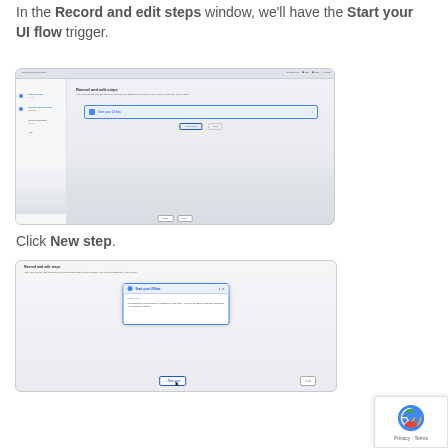In the Record and edit steps window, we'll have the Start your UI flow trigger.
[Figure (screenshot): Screenshot of the Power Automate 'Record and edit steps' window showing the 'Start your UI flow' trigger step highlighted in a blue selection box.]
Click New step.
[Figure (screenshot): Screenshot of the 'Record and edit steps' panel with a 'Start your UI flow' modal dialog open and a 'New step' button highlighted with a blue border at the bottom.]